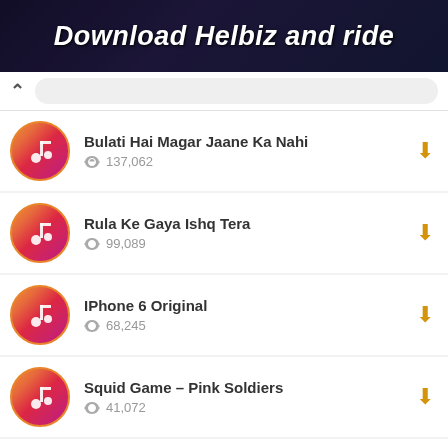[Figure (screenshot): Banner showing 'Download Helbiz and ride' text on dark background]
Bulati Hai Magar Jaane Ka Nahi | 137,062 plays
Rula Ke Gaya Ishq Tera | 99,089 plays
IPhone 6 Original | 68,245 plays
Squid Game – Pink Soldiers | 41,072 plays
Iphone X Señorita | (plays partially visible)